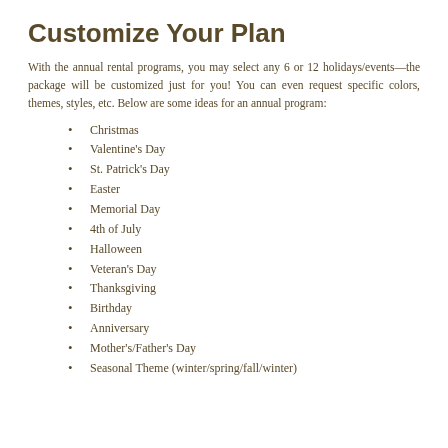Customize Your Plan
With the annual rental programs, you may select any 6 or 12 holidays/events—the package will be customized just for you! You can even request specific colors, themes, styles, etc. Below are some ideas for an annual program:
Christmas
Valentine's Day
St. Patrick's Day
Easter
Memorial Day
4th of July
Halloween
Veteran's Day
Thanksgiving
Birthday
Anniversary
Mother's/Father's Day
Seasonal Theme (winter/spring/fall/winter)